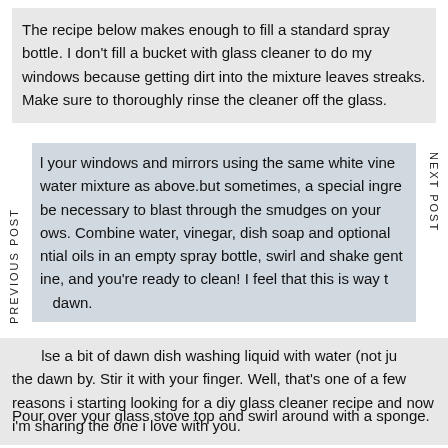The recipe below makes enough to fill a standard spray bottle. I don't fill a bucket with glass cleaner to do my windows because getting dirt into the mixture leaves streaks. Make sure to thoroughly rinse the cleaner off the glass.
l your windows and mirrors using the same white vine water mixture as above.but sometimes, a special ingre be necessary to blast through the smudges on your ows. Combine water, vinegar, dish soap and optional ntial oils in an empty spray bottle, swirl and shake gent ine, and you're ready to clean! I feel that this is way t dawn.
lse a bit of dawn dish washing liquid with water (not ju the dawn by. Stir it with your finger. Well, that's one of a few reasons i starting looking for a diy glass cleaner recipe and now i'm sharing the one i love with you.
Pour over your glass stove top and swirl around with a sponge.